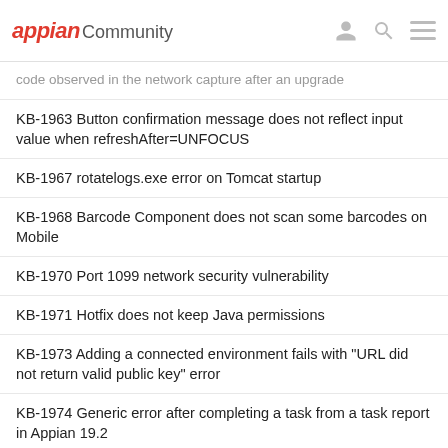appian Community
code observed in the network capture after an upgrade
KB-1963 Button confirmation message does not reflect input value when refreshAfter=UNFOCUS
KB-1967 rotatelogs.exe error on Tomcat startup
KB-1968 Barcode Component does not scan some barcodes on Mobile
KB-1970 Port 1099 network security vulnerability
KB-1971 Hotfix does not keep Java permissions
KB-1973 Adding a connected environment fails with "URL did not return valid public key" error
KB-1974 Generic error after completing a task from a task report in Appian 19.2
KB-1975 Web API calls return unexpected results after enabling SAML authentication
KB-1976 Calls to Appian WebAPI fails with 401 unauthorized in Postman
KB-1977 FitNesse scripts fail to run with "XX.X is not a supported version" error
KB-1978 Record icons fail to render after applying a hotfix
KB-1979 Health Check fails to run with HTTP 404 error or "unable to connect to Forum" error